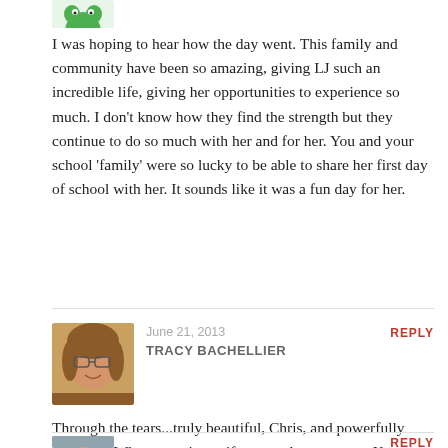[Figure (illustration): Small green cartoon frog/dinosaur avatar icon at top left]
I was hoping to hear how the day went. This family and community have been so amazing, giving LJ such an incredible life, giving her opportunities to experience so much. I don't know how they find the strength but they continue to do so much with her and for her. You and your school 'family' were so lucky to be able to share her first day of school with her. It sounds like it was a fun day for her.
[Figure (photo): Profile photo of Tracy Bachellier, a woman with glasses and curly hair, smiling]
June 21, 2013
TRACY BACHELLIER
REPLY
Through the tears...truly beautiful, Chris, and powerfully touching. What a precious gift you and everyone at Kent gave LJ and her family…
[Figure (photo): Partial avatar image at bottom, cut off]
REPLY